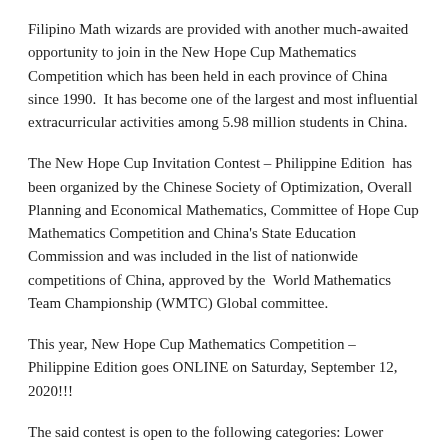Filipino Math wizards are provided with another much-awaited opportunity to join in the New Hope Cup Mathematics Competition which has been held in each province of China since 1990.  It has become one of the largest and most influential extracurricular activities among 5.98 million students in China.
The New Hope Cup Invitation Contest – Philippine Edition  has been organized by the Chinese Society of Optimization, Overall Planning and Economical Mathematics, Committee of Hope Cup Mathematics Competition and China's State Education Commission and was included in the list of nationwide competitions of China, approved by the  World Mathematics Team Championship (WMTC) Global committee.
This year, New Hope Cup Mathematics Competition – Philippine Edition goes ONLINE on Saturday, September 12, 2020!!!
The said contest is open to the following categories: Lower Primary (G2), Middle Primary (G3/4), Upper Primary (G5/6), JHS 7,8 and 9, Senior HS 11 and 12.
In the Philippines, the New Hope Cup is for all PhilBrain Aspirants, but